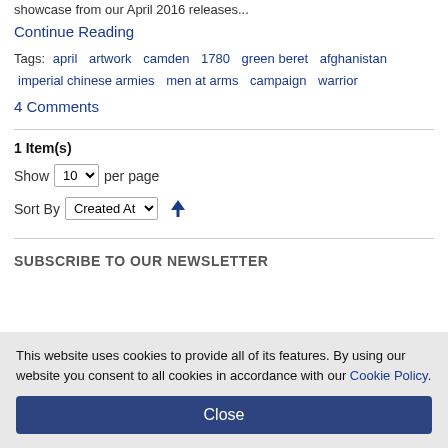showcase from our April 2016 releases...
Continue Reading
Tags: april artwork camden 1780 green beret afghanistan imperial chinese armies men at arms campaign warrior
4 Comments
1 Item(s)
Show 10 per page
Sort By Created At ↑
SUBSCRIBE TO OUR NEWSLETTER
This website uses cookies to provide all of its features. By using our website you consent to all cookies in accordance with our Cookie Policy.
Close